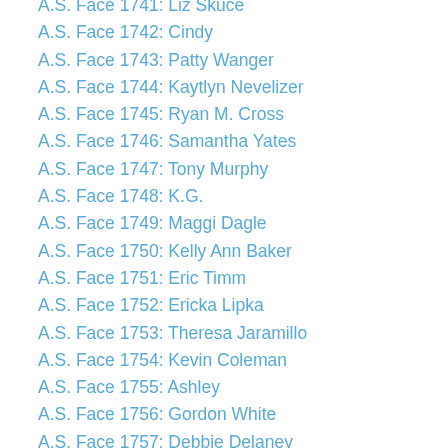A.S. Face 1741: Liz Skuce
A.S. Face 1742: Cindy
A.S. Face 1743: Patty Wanger
A.S. Face 1744: Kaytlyn Nevelizer
A.S. Face 1745: Ryan M. Cross
A.S. Face 1746: Samantha Yates
A.S. Face 1747: Tony Murphy
A.S. Face 1748: K.G.
A.S. Face 1749: Maggi Dagle
A.S. Face 1750: Kelly Ann Baker
A.S. Face 1751: Eric Timm
A.S. Face 1752: Ericka Lipka
A.S. Face 1753: Theresa Jaramillo
A.S. Face 1754: Kevin Coleman
A.S. Face 1755: Ashley
A.S. Face 1756: Gordon White
A.S. Face 1757: Debbie Delaney
A.S. Face 1758: Sharlene Huntley
A.S. Face 1759: Patricia Carsley-Tenney
A.S. Face 1760: Kim Tarkowski